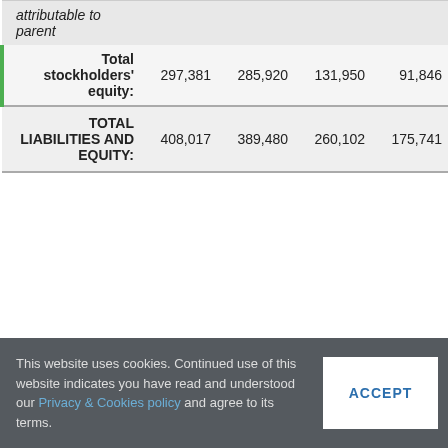|  | Col1 | Col2 | Col3 | Col4 |
| --- | --- | --- | --- | --- |
| attributable to parent |  |  |  |  |
| Total stockholders' equity: | 297,381 | 285,920 | 131,950 | 91,846 |
| TOTAL LIABILITIES AND EQUITY: | 408,017 | 389,480 | 260,102 | 175,741 |
This website uses cookies. Continued use of this website indicates you have read and understood our Privacy & Cookies policy and agree to its terms.